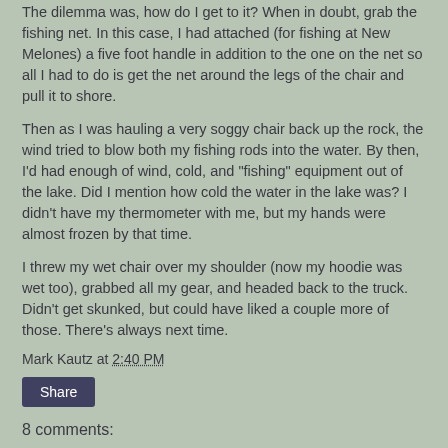The dilemma was, how do I get to it? When in doubt, grab the fishing net. In this case, I had attached (for fishing at New Melones) a five foot handle in addition to the one on the net so all I had to do is get the net around the legs of the chair and pull it to shore.
Then as I was hauling a very soggy chair back up the rock, the wind tried to blow both my fishing rods into the water. By then, I'd had enough of wind, cold, and "fishing" equipment out of the lake. Did I mention how cold the water in the lake was? I didn't have my thermometer with me, but my hands were almost frozen by that time.
I threw my wet chair over my shoulder (now my hoodie was wet too), grabbed all my gear, and headed back to the truck. Didn't get skunked, but could have liked a couple more of those. There's always next time.
Mark Kautz at 2:40 PM
Share
8 comments: